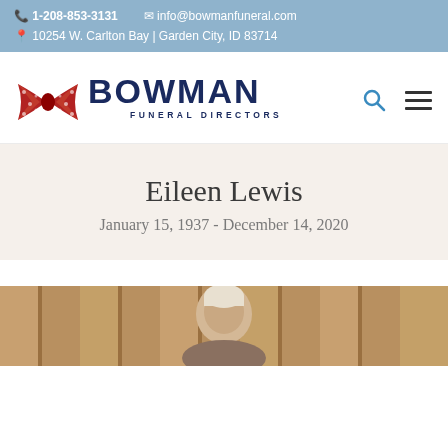1-208-853-3131   info@bowmanfuneral.com   10254 W. Carlton Bay | Garden City, ID 83714
[Figure (logo): Bowman Funeral Directors logo with red bowtie graphic and dark navy text]
Eileen Lewis
January 15, 1937 - December 14, 2020
[Figure (photo): Portrait photograph of Eileen Lewis, partially visible, warm toned background]